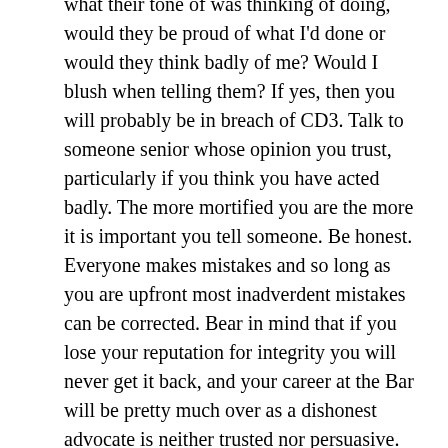what their tone of was thinking of doing, would they be proud of what I'd done or would they think badly of me? Would I blush when telling them? If yes, then you will probably be in breach of CD3. Talk to someone senior whose opinion you trust, particularly if you think you have acted badly. The more mortified you are the more it is important you tell someone. Be honest. Everyone makes mistakes and so long as you are upfront most inadverdent mistakes can be corrected. Bear in mind that if you lose your reputation for integrity you will never get it back, and your career at the Bar will be pretty much over as a dishonest advocate is neither trusted nor persuasive.
If I do X or accept X then will my independence be compromised? Will doing X make Y think that they can dictate what my advice should be? If yes, then you are probably in breach of CD4. Again, avoid at